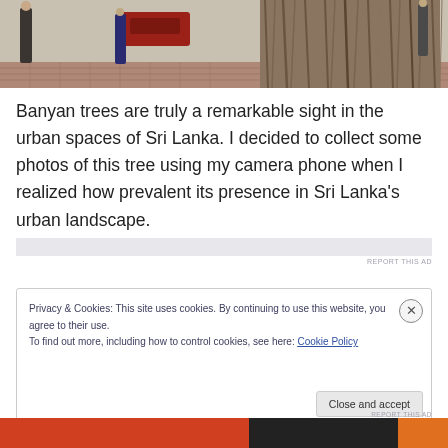[Figure (photo): Street scene with people walking on a brick sidewalk beside a large banyan tree with hanging roots; a red car is parked in the background.]
Banyan trees are truly a remarkable sight in the urban spaces of Sri Lanka. I decided to collect some photos of this tree using my camera phone when I realized how prevalent its presence in Sri Lanka's urban landscape.
Privacy & Cookies: This site uses cookies. By continuing to use this website, you agree to their use.
To find out more, including how to control cookies, see here: Cookie Policy
Close and accept